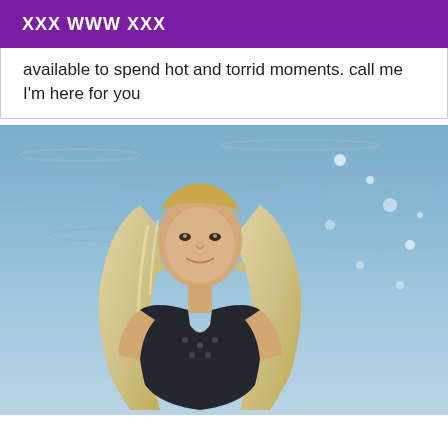XXX WWW XXX
available to spend hot and torrid moments. call me I'm here for you
[Figure (photo): A blonde woman in a low-cut dark swimsuit standing in front of sparkling blue water, smiling at the camera with long wavy hair]